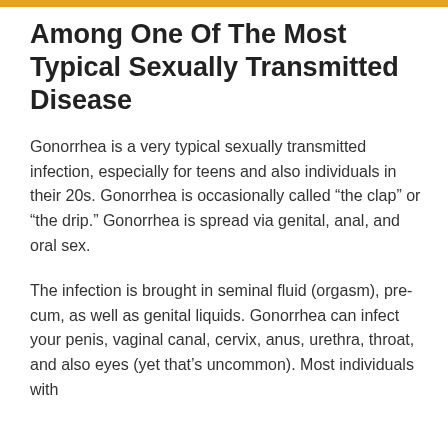Among One Of The Most Typical Sexually Transmitted Disease
Gonorrhea is a very typical sexually transmitted infection, especially for teens and also individuals in their 20s. Gonorrhea is occasionally called “the clap” or “the drip.” Gonorrhea is spread via genital, anal, and oral sex.
The infection is brought in seminal fluid (orgasm), pre-cum, as well as genital liquids. Gonorrhea can infect your penis, vaginal canal, cervix, anus, urethra, throat, and also eyes (yet that’s uncommon). Most individuals with